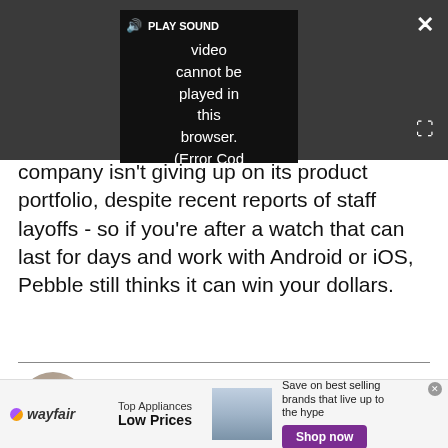[Figure (screenshot): Video player showing error message: 'PLAY SOUND Video cannot be played in this browser. (Error Cod' with speaker icon, close button, and expand button on dark background]
company isn't giving up on its product portfolio, despite recent reports of staff layoffs - so if you're after a watch that can last for days and work with Android or iOS, Pebble still thinks it can win your dollars.
Gareth Beavis
Global Editor in Chief
[Figure (screenshot): Wayfair advertisement banner: 'Top Appliances Low Prices. Save on best selling brands that live up to the hype. Shop now']